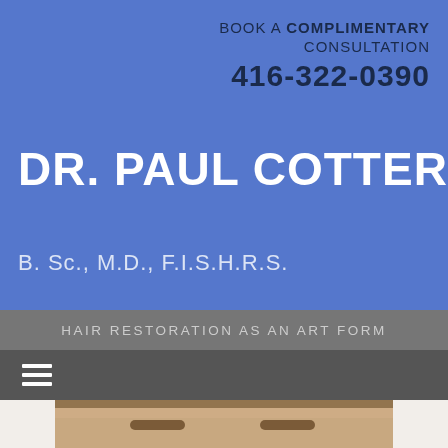BOOK A COMPLIMENTARY CONSULTATION 416-322-0390
DR. PAUL COTTERILL
B. Sc., M.D., F.I.S.H.R.S.
HAIR RESTORATION AS AN ART FORM
[Figure (photo): Close-up photo of a woman's forehead and eyebrows, likely a hair restoration patient or model shown on a medical clinic website]